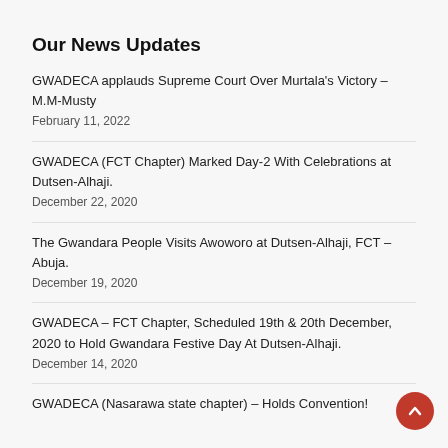Our News Updates
GWADECA applauds Supreme Court Over Murtala's Victory – M.M-Musty February 11, 2022
GWADECA (FCT Chapter) Marked Day-2 With Celebrations at Dutsen-Alhaji. December 22, 2020
The Gwandara People Visits Awoworo at Dutsen-Alhaji, FCT – Abuja. December 19, 2020
GWADECA – FCT Chapter, Scheduled 19th & 20th December, 2020 to Hold Gwandara Festive Day At Dutsen-Alhaji. December 14, 2020
GWADECA (Nasarawa state chapter) – Holds Convention!